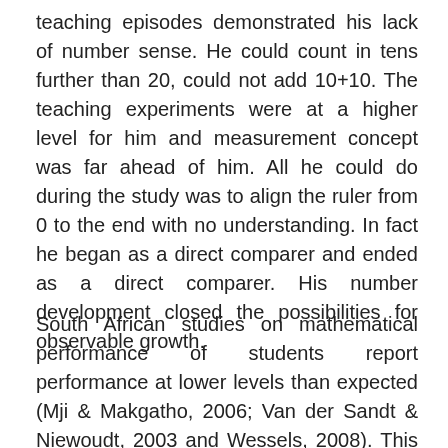teaching episodes demonstrated his lack of number sense. He could count in tens further than 20, could not add 10+10. The teaching experiments were at a higher level for him and measurement concept was far ahead of him. All he could do during the study was to align the ruler from 0 to the end with no understanding. In fact he began as a direct comparer and ended as a direct comparer. His number development closed the possibilities for observable growth.
South African studies on mathematical performance of students report performance at lower levels than expected (Mji & Makgatho, 2006; Van der Sandt & Niewoudt, 2003 and Wessels, 2008). This study revealed an additional component to teacher lack of